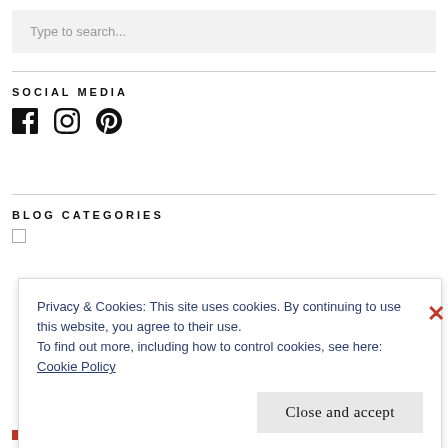Type to search...
SOCIAL MEDIA
[Figure (illustration): Social media icons: Facebook, Instagram, Pinterest]
BLOG CATEGORIES
Privacy & Cookies: This site uses cookies. By continuing to use this website, you agree to their use.
To find out more, including how to control cookies, see here:
Cookie Policy
Close and accept